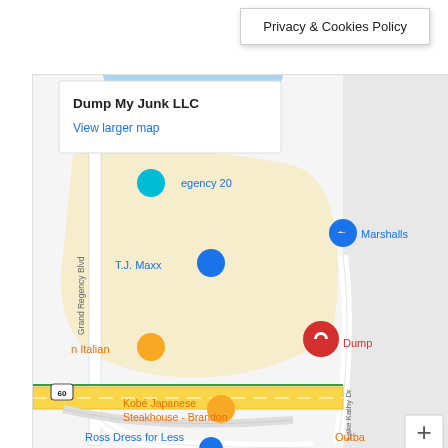Privacy & Cookies Policy
[Figure (map): Google Maps screenshot showing the location of Dump My Junk LLC near Grand Regency Blvd in Brandon, FL. Nearby landmarks include T.J. Maxx, Marshalls, Kobé Japanese Steakhouse - Brandon, Ross Dress for Less, and an Italian restaurant. A red map pin marks the Dump My Junk LLC location. Lake Kathy Dr is visible. The map shows a popup reading 'Dump My Junk LLC' with a 'View larger map' link.]
Dump My Junk LLC
View larger map